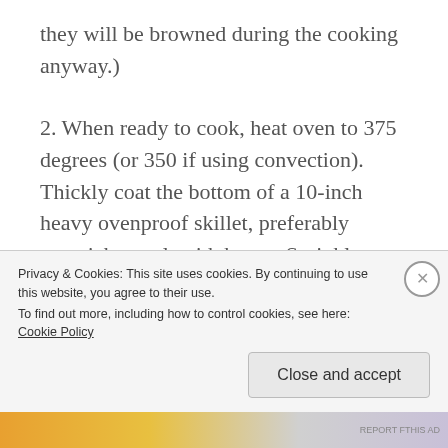they will be browned during the cooking anyway.)
2. When ready to cook, heat oven to 375 degrees (or 350 if using convection). Thickly coat the bottom of a 10-inch heavy ovenproof skillet, preferably nonstick metal, with butter. Sprinkle sugar evenly on top.
3. Cut one piece of apple into a thick round disk
Privacy & Cookies: This site uses cookies. By continuing to use this website, you agree to their use. To find out more, including how to control cookies, see here: Cookie Policy
Close and accept